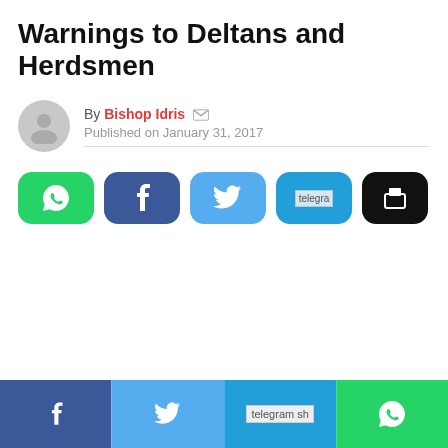Warnings to Deltans and Herdsmen
By Bishop Idris  Published on January 31, 2017
[Figure (infographic): Social share buttons: WhatsApp (green), Facebook (dark blue), Twitter (light blue), Telegram (blue, partially visible), Print (black)]
[Figure (infographic): Bottom share bar: Facebook (dark blue), Twitter (light blue), Telegram (blue, partially cut), WhatsApp (green)]